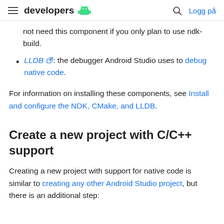developers | Logg på
not need this component if you only plan to use ndk-build.
LLDB [external link]: the debugger Android Studio uses to debug native code.
For information on installing these components, see Install and configure the NDK, CMake, and LLDB.
Create a new project with C/C++ support
Creating a new project with support for native code is similar to creating any other Android Studio project, but there is an additional step: